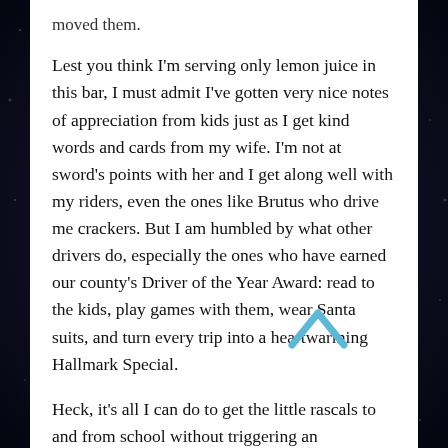moved them.
Lest you think I'm serving only lemon juice in this bar, I must admit I've gotten very nice notes of appreciation from kids just as I get kind words and cards from my wife. I'm not at sword's points with her and I get along well with my riders, even the ones like Brutus who drive me crackers. But I am humbled by what other drivers do, especially the ones who have earned our county's Driver of the Year Award: read to the kids, play games with them, wear Santa suits, and turn every trip into a heartwarming Hallmark Special.
Heck, it's all I can do to get the little rascals to and from school without triggering an international incident.
One day a big roll of paper towels fell out from